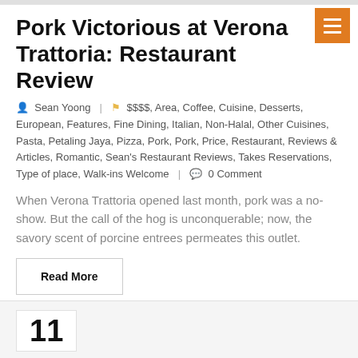Pork Victorious at Verona Trattoria: Restaurant Review
Sean Yoong | $$$$, Area, Coffee, Cuisine, Desserts, European, Features, Fine Dining, Italian, Non-Halal, Other Cuisines, Pasta, Petaling Jaya, Pizza, Pork, Pork, Price, Restaurant, Reviews & Articles, Romantic, Sean's Restaurant Reviews, Takes Reservations, Type of place, Walk-ins Welcome | 0 Comment
When Verona Trattoria opened last month, pork was a no-show. But the call of the hog is unconquerable; now, the savory scent of porcine entrees permeates this outlet.
Read More
11